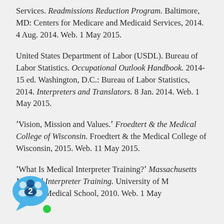Services. Readmissions Reduction Program. Baltimore, MD: Centers for Medicare and Medicaid Services, 2014. 4 Aug. 2014. Web. 1 May 2015.
United States Department of Labor (USDL). Bureau of Labor Statistics. Occupational Outlook Handbook. 2014-15 ed. Washington, D.C.: Bureau of Labor Statistics, 2014. Interpreters and Translators. 8 Jan. 2014. Web. 1 May 2015.
ʾVision, Mission and Values.ʼ Froedtert & the Medical College of Wisconsin. Froedtert & the Medical College of Wisconsin, 2015. Web. 11 May 2015.
ʾWhat Is Medical Interpreter Training?ʼ Massachusetts Medical Interpreter Training. University of Massachusetts Medical School, 2010. Web. 1 May